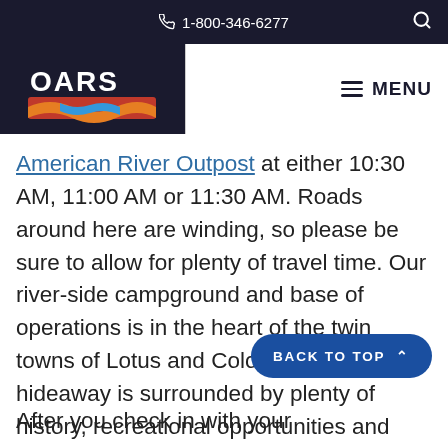1-800-346-6277
[Figure (logo): OARS logo — white text on dark navy background with colorful river/wave graphic]
American River Outpost at either 10:30 AM, 11:00 AM or 11:30 AM. Roads around here are winding, so please be sure to allow for plenty of travel time. Our river-side campground and base of operations is in the heart of the twin towns of Lotus and Coloma. Our peaceful hideaway is surrounded by plenty of history, recreational opportunities and cultural activities.
After you check in with your